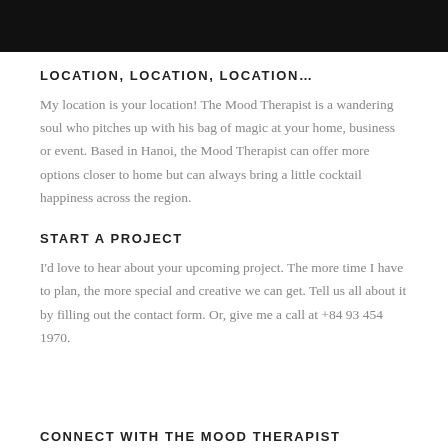LOCATION, LOCATION, LOCATION…
My location is your location! The Mood Therapist is a wandering soul who pitches up with his bag of magic at your home, business or event. Based in Hanoi, the Mood Therapist can offer more options closer to home but can always bring a little cocktail happiness across the region.
START A PROJECT
I'd love to hear about your upcoming project. The more time I have to plan, the more special and creative we can get. Tell us all about it by filling out the contact form. Or, give me a call at +84 93 454 1970.
CONNECT WITH THE MOOD THERAPIST